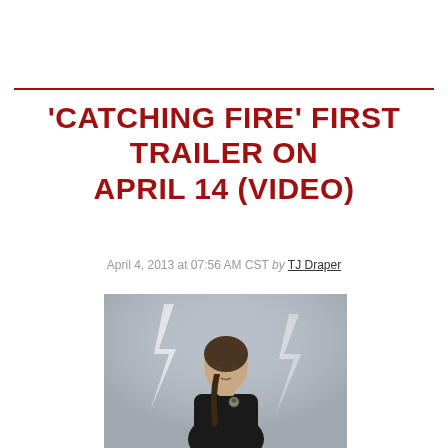'Catching Fire' First Trailer on April 14 (video)
April 4, 2013 at 07:56 AM CST by TJ Draper
[Figure (photo): Young woman with braided hair in dark outfit against a stormy grey sky with lightning, from The Hunger Games: Catching Fire promotional photo]